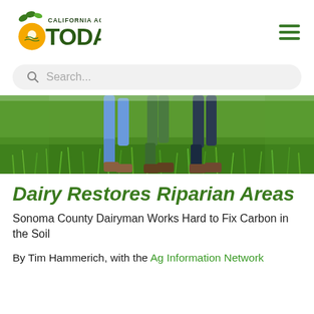[Figure (logo): California Ag Today logo with orange location pin, green leaves, and bold green TODAY text]
Search...
[Figure (photo): People walking through green grass field, lower body/legs visible, wearing jeans and boots]
Dairy Restores Riparian Areas
Sonoma County Dairyman Works Hard to Fix Carbon in the Soil
By Tim Hammerich, with the Ag Information Network